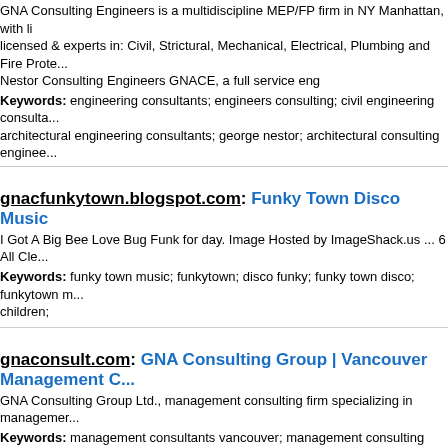GNA Consulting Engineers is a multidiscipline MEP/FP firm in NY Manhattan, with licensed & experts in: Civil, Strictural, Mechanical, Electrical, Plumbing and Fire Prote... Nestor Consulting Engineers GNACE, a full service eng
Keywords: engineering consultants; engineers consulting; civil engineering consulta... architectural engineering consultants; george nestor; architectural consulting enginee...
gnacfunkytown.blogspot.com: Funky Town Disco Music
I Got A Big Bee Love Bug Funk for day. Image Hosted by ImageShack.us ... 6 All Cle...
Keywords: funky town music; funkytown; disco funky; funky town disco; funkytown m... children;
gnaconsult.com: GNA Consulting Group | Vancouver Management C...
GNA Consulting Group Ltd., management consulting firm specializing in managemer...
Keywords: management consultants vancouver; management consulting firms cana...
prev 1 2 3 4 5 6 7 8 9 10 11 ... next
Sites alpha directory: a b c d e f g h i j k l m n o p q r s t u v w x y z 0 1 2 3 4 5 6 7 8 9